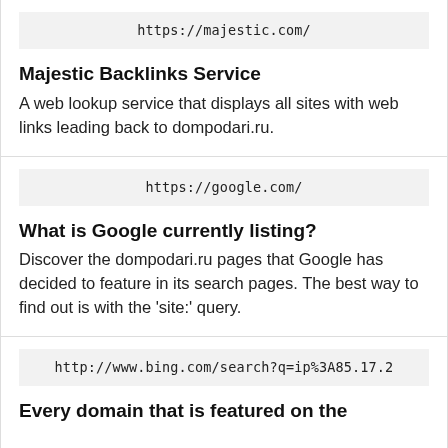https://majestic.com/
Majestic Backlinks Service
A web lookup service that displays all sites with web links leading back to dompodari.ru.
https://google.com/
What is Google currently listing?
Discover the dompodari.ru pages that Google has decided to feature in its search pages. The best way to find out is with the 'site:' query.
http://www.bing.com/search?q=ip%3A85.17.2
Every domain that is featured on the